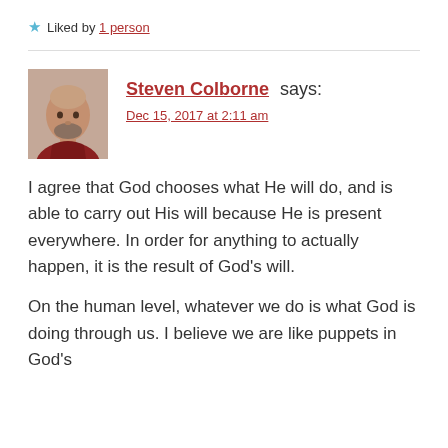★ Liked by 1 person
[Figure (photo): Avatar photo of Steven Colborne, a bald man with a beard wearing a red top]
Steven Colborne says:
Dec 15, 2017 at 2:11 am
I agree that God chooses what He will do, and is able to carry out His will because He is present everywhere. In order for anything to actually happen, it is the result of God's will.
On the human level, whatever we do is what God is doing through us. I believe we are like puppets in God's